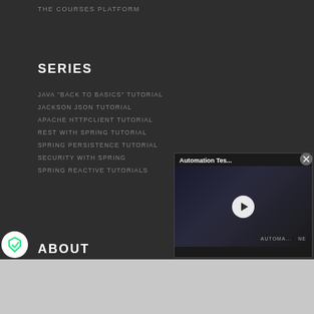THE COURSES PLATFORM
SERIES
JAVA "BACK TO BASICS" TUTORIAL
JACKSON JSON TUTORIAL
APACHE HTTPCLIENT TUTORIAL
REST WITH SPRING TUTORIAL
SPRING PERSISTENCE TUTORIAL
SECURITY WITH SPRING
SPRING REACTIVE TUTORIALS
[Figure (screenshot): Video popup showing 'Automation Tes...' with a play button over a dark thumbnail showing hands, with AUTOMATION text overlay]
ABOUT
[Figure (photo): Disney Bundle advertisement banner showing Hulu, Disney+, ESPN+ logos with 'GET THE DISNEY BUNDLE' button and disclaimer text]